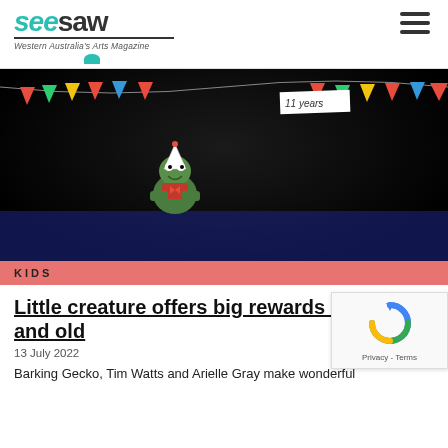seesaw — Western Australia's Arts Magazine
[Figure (photo): Dark stage scene with a green puppet/creature wearing a party hat, colorful bunting decorations overhead including a banner reading '11 years', stage props including wooden blocks and small gift boxes arranged on a blue-lit stage surface.]
KIDS
Little creature offers big rewards for young and old
13 July 2022
Barking Gecko, Tim Watts and Arielle Gray make wonderful